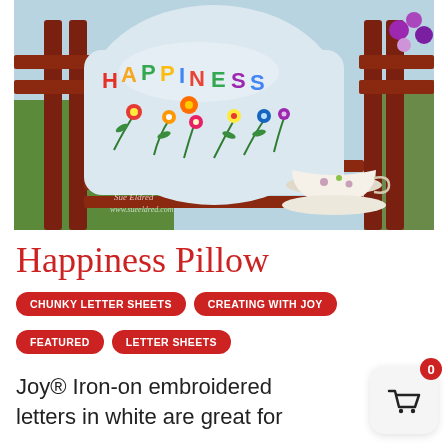[Figure (photo): A light blue decorative pillow with colorful embroidered flowers and the word HAPPINESS in rainbow letters, sitting on a dark red wooden outdoor chair. A floral tea cup and saucer are on the chair beside it. Green grass and purple flowers are in the background. Watermark reads 'Sue Eldred www.sueeldred.com'.]
Happiness Pillow
CHUNKY LETTER SHEETS
CREATING WITH JOY
FEATURED
LETTER SHEETS
Joy® Iron-on embroidered letters in white are great for